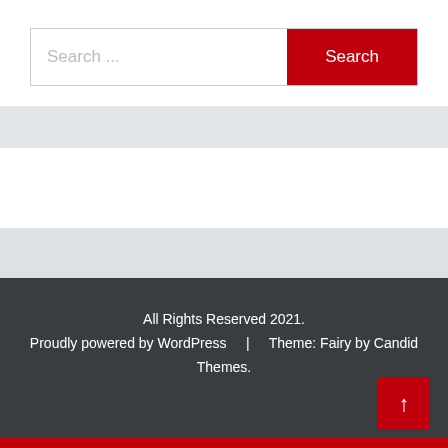[Figure (screenshot): Search bar with text input placeholder 'Search ...' and a red 'Search' button on the right]
All Rights Reserved 2021.
Proudly powered by WordPress    |    Theme: Fairy by Candid Themes.